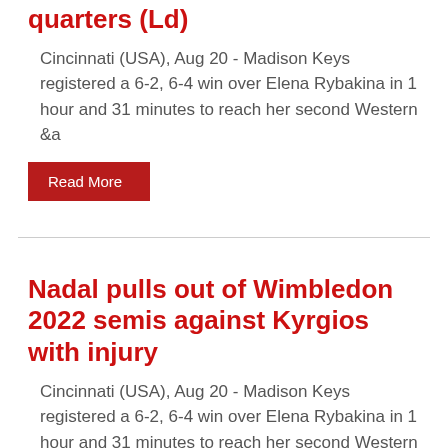quarters (Ld)
Cincinnati (USA), Aug 20 - Madison Keys registered a 6-2, 6-4 win over Elena Rybakina in 1 hour and 31 minutes to reach her second Western &a
Read More
Nadal pulls out of Wimbledon 2022 semis against Kyrgios with injury
Cincinnati (USA), Aug 20 - Madison Keys registered a 6-2, 6-4 win over Elena Rybakina in 1 hour and 31 minutes to reach her second Western &a
Read More
Wimbledon 2022: Mercurial Kyrgios